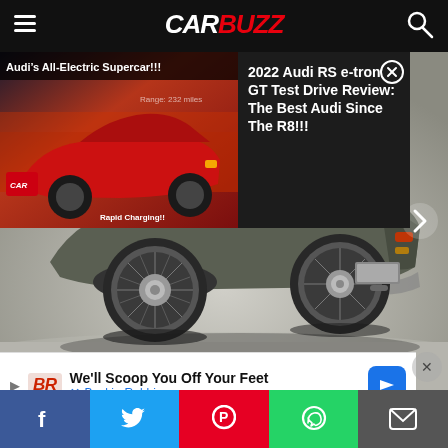CARBUZZ
[Figure (screenshot): Video thumbnail showing red Audi RS e-tron GT electric supercar with title 'Audi's All-Electric Supercar!!!' and CarBuzz branding]
2022 Audi RS e-tron GT Test Drive Review: The Best Audi Since The R8!!!
[Figure (photo): Rear three-quarter view of a classic Jaguar E-Type in dark grey/green color on a neutral grey studio background. Wire-spoke wheels visible. Right-side navigation arrow visible.]
We'll Scoop You Off Your Feet
Baskin-Robbins